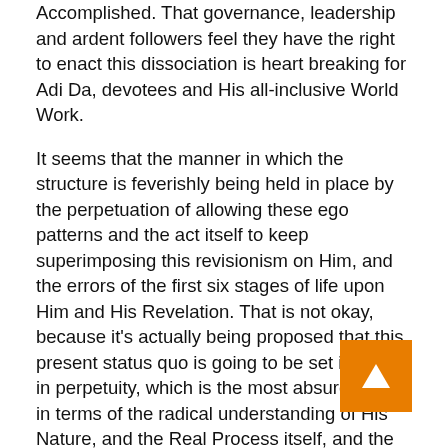Accomplished. That governance, leadership and ardent followers feel they have the right to enact this dissociation is heart breaking for Adi Da, devotees and His all-inclusive World Work.
It seems that the manner in which the structure is feverishly being held in place by the perpetuation of allowing these ego patterns and the act itself to keep superimposing this revisionism on Him, and the errors of the first six stages of life upon Him and His Revelation. That is not okay, because it's actually being proposed that this present status quo is going to be set in stone in perpetuity, which is the most absurd notion, in terms of the radical understanding of His Nature, and the Real Process itself, and the Leela, and how his Revelation was manifest and will continue to be so.
The Direct Process does not work that way. Not by focusing on a new mythology or religious rites, rituals, disciplines, admonitions, prayers etc based in requests for His Blessing alone. Conditional sacred structures or even